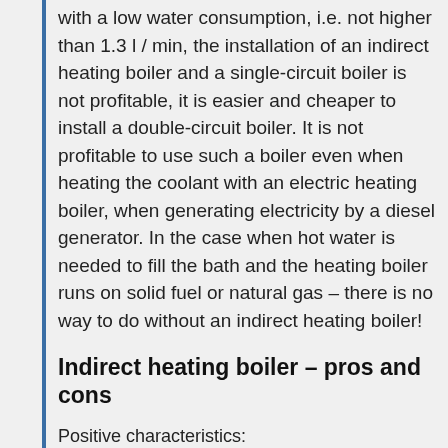with a low water consumption, i.e. not higher than 1.3 l / min, the installation of an indirect heating boiler and a single-circuit boiler is not profitable, it is easier and cheaper to install a double-circuit boiler. It is not profitable to use such a boiler even when heating the coolant with an electric heating boiler, when generating electricity by a diesel generator. In the case when hot water is needed to fill the bath and the heating boiler runs on solid fuel or natural gas – there is no way to do without an indirect heating boiler!
Indirect heating boiler – pros and cons
Positive characteristics: